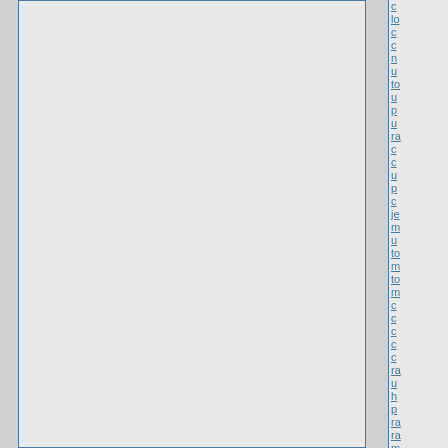[Figure (screenshot): A document viewer or web interface showing two large empty content panels (light gray with steel-blue borders) side by side on the left, and a right sidebar with a scrollable list of truncated hyperlinks (partial words visible: c, lo, c, c, n, u, to, u, p, u, ra, c, c, u, p, c, je, m, u, to, m, to, m, c, c, c, c, c, ra, u, h, p, ra, ra, m, u, u, c) in steel-blue color against a light gray background.]